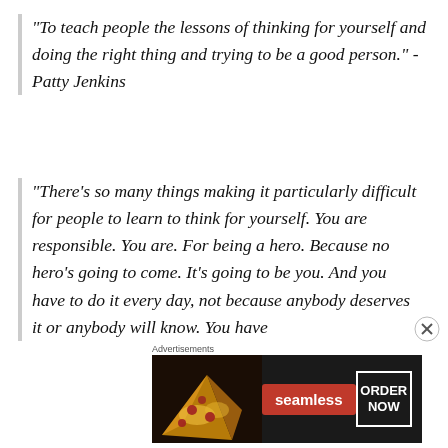“To teach people the lessons of thinking for yourself and doing the right thing and trying to be a good person.” -Patty Jenkins
“There’s so many things making it particularly difficult for people to learn to think for yourself. You are responsible. You are. For being a hero. Because no hero’s going to come. It’s going to be you. And you have to do it every day, not because anybody deserves it or anybody will know. You have
[Figure (other): Seamless food delivery advertisement banner with pizza image on left, Seamless red logo badge in center, and ORDER NOW button on right]